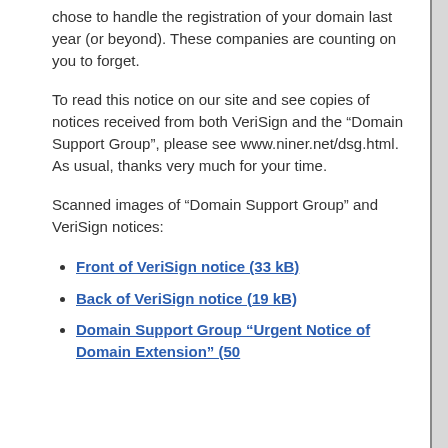chose to handle the registration of your domain last year (or beyond). These companies are counting on you to forget.
To read this notice on our site and see copies of notices received from both VeriSign and the “Domain Support Group”, please see www.niner.net/dsg.html. As usual, thanks very much for your time.
Scanned images of “Domain Support Group” and VeriSign notices:
Front of VeriSign notice (33 kB)
Back of VeriSign notice (19 kB)
Domain Support Group “Urgent Notice of Domain Extension” (50